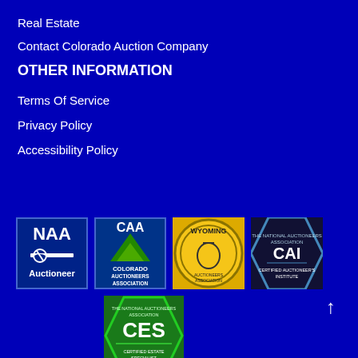Real Estate
Contact Colorado Auction Company
OTHER INFORMATION
Terms Of Service
Privacy Policy
Accessibility Policy
[Figure (logo): NAA Auctioneer logo - blue and white with gavel]
[Figure (logo): CAA Colorado Auctioneers Association logo - blue with mountain]
[Figure (logo): Wyoming Auctioneers Association logo - yellow circular badge with bucking horse]
[Figure (logo): Certified Auctioneers Institute hexagon badge]
[Figure (logo): CES Certified Estate Specialist green hexagon badge]